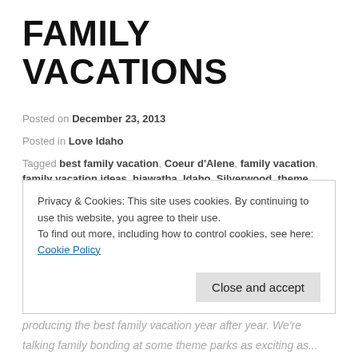FAMILY VACATIONS
Posted on December 23, 2013
Posted in Love Idaho
Tagged best family vacation, Coeur d'Alene, family vacation, family vacation ideas, hiawatha, Idaho, Silverwood, theme parks, vacation ideas
Leave a comment
Planning the best family vacation ever, year after year, can be time consuming and daunting.  After all, family
Privacy & Cookies: This site uses cookies. By continuing to use this website, you agree to their use.
To find out more, including how to control cookies, see here: Cookie Policy
Close and accept
producing the best family vacation year after year. We're talking family bonding at some theme parks as exciting as...